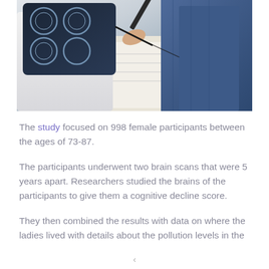[Figure (photo): A doctor in a white coat holding a medical scan (brain/X-ray images visible on dark tablet), with a patient in blue jeans sitting nearby, and the doctor writing notes on paper.]
The study focused on 998 female participants between the ages of 73-87.
The participants underwent two brain scans that were 5 years apart. Researchers studied the brains of the participants to give them a cognitive decline score.
They then combined the results with data on where the ladies lived with details about the pollution levels in the